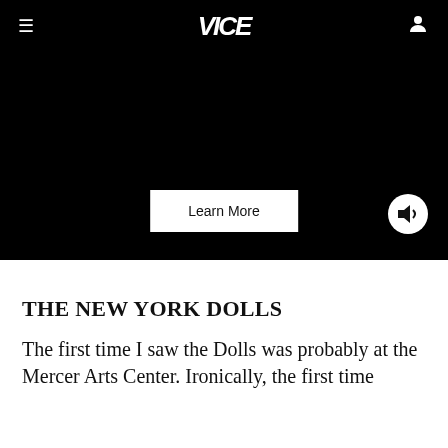VICE
[Figure (screenshot): Black video player area with a 'Learn More' button centered and a volume/speaker icon in the bottom right corner]
THE NEW YORK DOLLS
The first time I saw the Dolls was probably at the Mercer Arts Center. Ironically, the first time